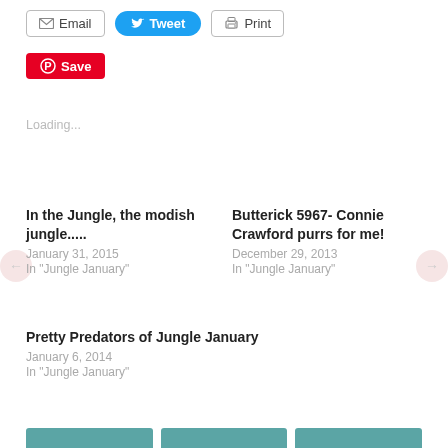[Figure (screenshot): Share buttons: Email, Tweet, Print, Save (Pinterest)]
Loading...
In the Jungle, the modish jungle....
January 31, 2015
In "Jungle January"
Butterick 5967- Connie Crawford purrs for me!
December 29, 2013
In "Jungle January"
Pretty Predators of Jungle January
January 6, 2014
In "Jungle January"